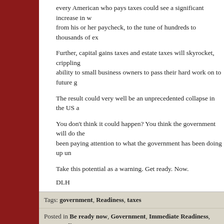every American who pays taxes could see a significant increase in what is taken from his or her paycheck, to the tune of hundreds to thousands of ex...
Further, capital gains taxes and estate taxes will skyrocket, crippling ability to small business owners to pass their hard work on to future g...
The result could very well be an unprecedented collapse in the US a...
You don't think it could happen? You think the government will do the... been paying attention to what the government has been doing up un...
Take this potential as a warning. Get ready. Now.
DLH
Tags: government, Readiness, taxes
Posted in Be ready now, Government, Immediate Readiness, Intermediate News, Planning | No Comments »
Add this post to Del.icio.us - Digg
Intermediate Readiness
Thursday, February 9th, 2012
Intermediate readiness represents an order of magnitude of greater readiness. Planning for intermediate readiness means being ready for months or even years and usually represents planning for specific ki... anticipate having in the place where you live. While intermediate rea... also anticipates an eventual return to a previous state, which is what... readiness.
What kind of events need to be planned for? Most intermediate p...